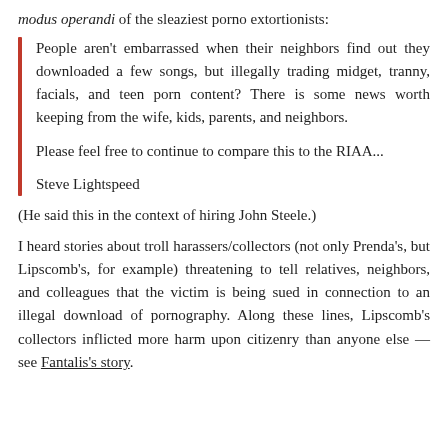modus operandi of the sleaziest porno extortionists:
People aren't embarrassed when their neighbors find out they downloaded a few songs, but illegally trading midget, tranny, facials, and teen porn content? There is some news worth keeping from the wife, kids, parents, and neighbors.

Please feel free to continue to compare this to the RIAA...

Steve Lightspeed
(He said this in the context of hiring John Steele.)
I heard stories about troll harassers/collectors (not only Prenda's, but Lipscomb's, for example) threatening to tell relatives, neighbors, and colleagues that the victim is being sued in connection to an illegal download of pornography. Along these lines, Lipscomb's collectors inflicted more harm upon citizenry than anyone else — see Fantalis's story.